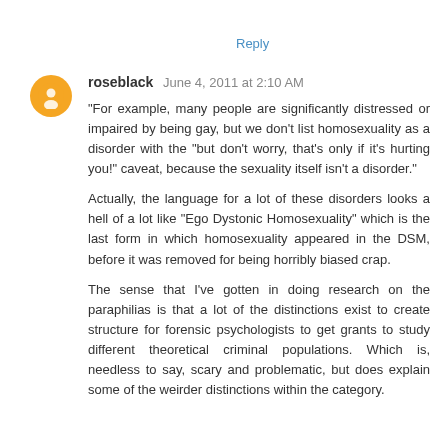Reply
roseblack  June 4, 2011 at 2:10 AM
"For example, many people are significantly distressed or impaired by being gay, but we don't list homosexuality as a disorder with the "but don't worry, that's only if it's hurting you!" caveat, because the sexuality itself isn't a disorder."

Actually, the language for a lot of these disorders looks a hell of a lot like "Ego Dystonic Homosexuality" which is the last form in which homosexuality appeared in the DSM, before it was removed for being horribly biased crap.

The sense that I've gotten in doing research on the paraphilias is that a lot of the distinctions exist to create structure for forensic psychologists to get grants to study different theoretical criminal populations. Which is, needless to say, scary and problematic, but does explain some of the weirder distinctions within the category.